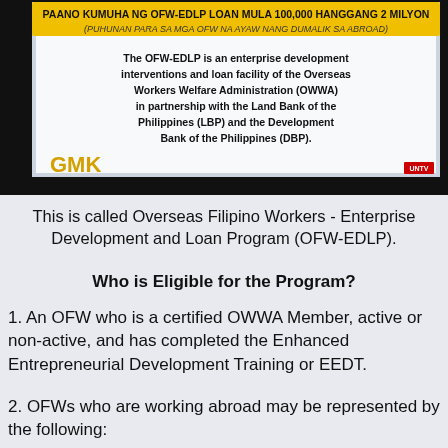[Figure (screenshot): TV screenshot showing a slide about OFW-EDLP loan program. Black background with a white/blue slide. Yellow banner at top reads 'PAANO KUMUHA NG OFW-EDLP LOAN MULA 100,000 HANGGANG 2 MILYON' with italic subtitle '(PUHUNAN PARA SA MGA OFW NA AYAW NANG DUMALIK SA ABROAD)'. Main text: 'The OFW-EDLP is an enterprise development interventions and loan facility of the Overseas Workers Welfare Administration (OWWA) in partnership with the Land Bank of the Philippines (LBP) and the Development Bank of the Philippines (DBP).' Bottom left shows 'GMK' in gold letters. Bottom right shows 'UNTV' logo.]
This is called Overseas Filipino Workers - Enterprise Development and Loan Program (OFW-EDLP).
Who is Eligible for the Program?
1. An OFW who is a certified OWWA Member, active or non-active, and has completed the Enhanced Entrepreneurial Development Training or EEDT.
2. OFWs who are working abroad may be represented by the following: